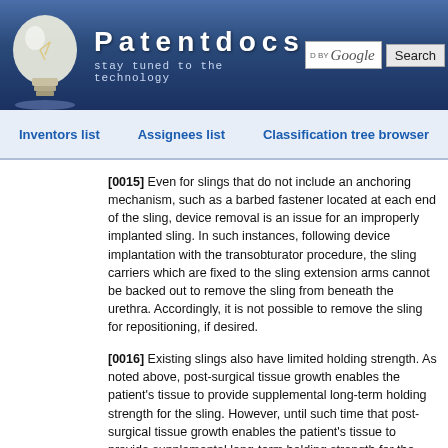Patentdocs — stay tuned to the technology
Inventors list | Assignees list | Classification tree browser
[0015] Even for slings that do not include an anchoring mechanism, such as a barbed fastener located at each end of the sling, device removal is an issue for an improperly implanted sling. In such instances, following device implantation with the transobturator procedure, the sling carriers which are fixed to the sling extension arms cannot be backed out to remove the sling from beneath the urethra. Accordingly, it is not possible to remove the sling for repositioning, if desired.
[0016] Existing slings also have limited holding strength. As noted above, post-surgical tissue growth enables the patient's tissue to provide supplemental long-term holding strength for the sling. However, until such time that post-surgical tissue growth enables the patient's tissue to provide supplemental long-term holding strength for the sling, means for providing preliminary holding strength are employed. Such preliminary holding strength systems include those which employ an anchoring mechanism, such as a barbed fastener